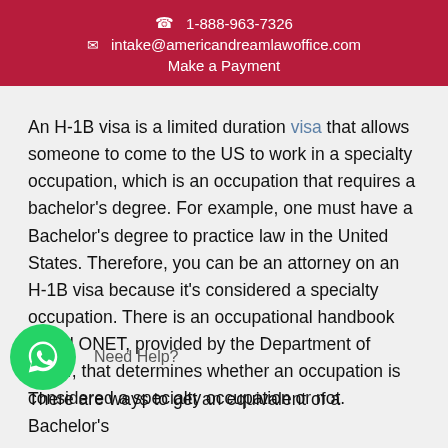1-888-963-7326
intake@americandreamlawoffice.com
Make a Payment
An H-1B visa is a limited duration visa that allows someone to come to the US to work in a specialty occupation, which is an occupation that requires a bachelor's degree. For example, one must have a Bachelor's degree to practice law in the United States. Therefore, you can be an attorney on an H-1B visa because it's considered a specialty occupation. There is an occupational handbook called ONET, provided by the Department of Labor, that determines whether an occupation is considered a specialty occupation or not.
There are ways to get an equivalent of a Bachelor's